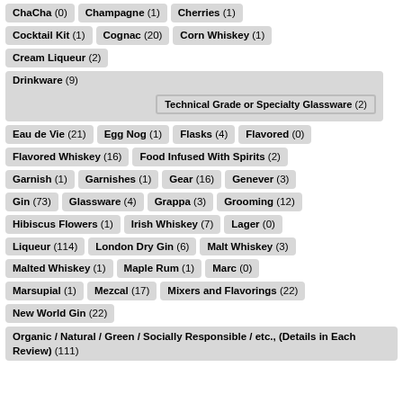ChaCha (0)
Champagne (1)
Cherries (1)
Cocktail Kit (1)
Cognac (20)
Corn Whiskey (1)
Cream Liqueur (2)
Drinkware (9) — Technical Grade or Specialty Glassware (2)
Eau de Vie (21)
Egg Nog (1)
Flasks (4)
Flavored (0)
Flavored Whiskey (16)
Food Infused With Spirits (2)
Garnish (1)
Garnishes (1)
Gear (16)
Genever (3)
Gin (73)
Glassware (4)
Grappa (3)
Grooming (12)
Hibiscus Flowers (1)
Irish Whiskey (7)
Lager (0)
Liqueur (114)
London Dry Gin (6)
Malt Whiskey (3)
Malted Whiskey (1)
Maple Rum (1)
Marc (0)
Marsupial (1)
Mezcal (17)
Mixers and Flavorings (22)
New World Gin (22)
Organic / Natural / Green / Socially Responsible / etc., (Details in Each Review) (111)